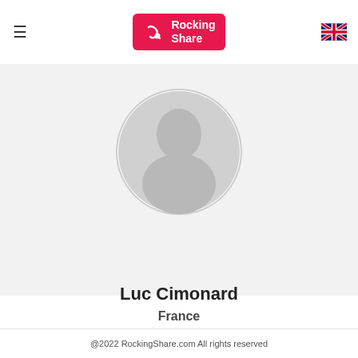≡  Rocking Share  🇬🇧
[Figure (illustration): Default user avatar silhouette inside a circular frame with light gray background]
Luc Cimonard
France
@2022 RockingShare.com All rights reserved